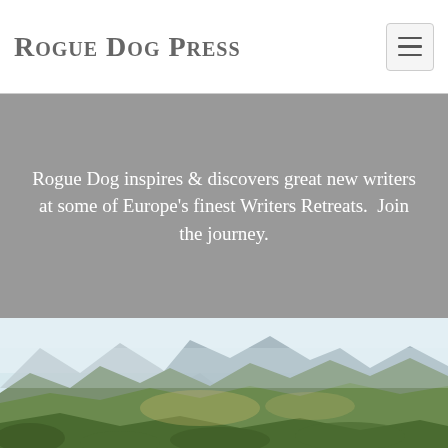Rogue Dog Press
Rogue Dog inspires & discovers great new writers at some of Europe's finest Writers Retreats.  Join the journey.
[Figure (illustration): Landscape photograph showing rolling hills and mountains under a pale sky, with green vegetation in the foreground and distant mountain peaks.]